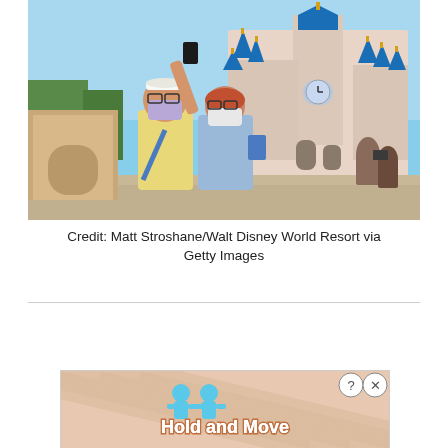[Figure (photo): Two people wearing face masks taking a selfie in front of Cinderella's Castle at Walt Disney World. The man in a yellow shirt holds up a smartphone, and the woman in a blue top stands beside him. Background shows the iconic Disney castle with blue spires and a crowd of visitors.]
Credit: Matt Stroshane/Walt Disney World Resort via Getty Images
[Figure (screenshot): Advertisement banner showing cartoon figures and text 'Hold and Move' on a beige/pink striped background, with a question mark help icon and X close button in the top right.]